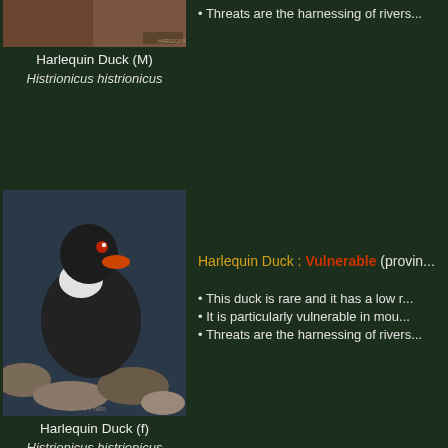[Figure (photo): Harlequin Duck male photo (top, partially visible)]
Harlequin Duck (M)
Histrionicus histrionicus
Threats are the harnessing of rivers...
[Figure (photo): Harlequin Duck female sitting on rocks]
Harlequin Duck (f)
Histrionicus histrionicus
Harlequin Duck : Vulnerable (provin...)
This duck is rare and it has a low r...
It is particularly vulnerable in mou...
Threats are the harnessing of rivers...
[Figure (photo): Red Knot shorebirds on sand]
Red Knot
Calidris canutus
Red Knot : Likely to be designated t...
Knots of the rufa subspecies have b... Bay.
Other threats for Rufa and Islandic... North America, the disturbance of bi... effects of climate change, including...